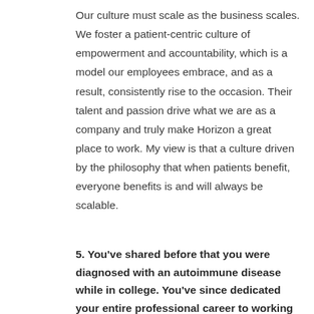Our culture must scale as the business scales. We foster a patient-centric culture of empowerment and accountability, which is a model our employees embrace, and as a result, consistently rise to the occasion. Their talent and passion drive what we are as a company and truly make Horizon a great place to work. My view is that a culture driven by the philosophy that when patients benefit, everyone benefits is and will always be scalable.
5. You've shared before that you were diagnosed with an autoimmune disease while in college. You've since dedicated your entire professional career to working at different